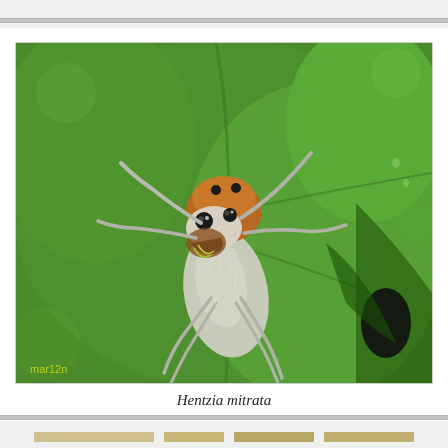[Figure (photo): Macro photograph of Hentzia mitrata, a jumping spider, perched on a green leaf. The spider has a white/gray body with orange-brown coloring on its head and black eyes. It appears to be feeding on prey. Watermark 'mar12n' visible in lower left corner.]
Hentzia mitrata